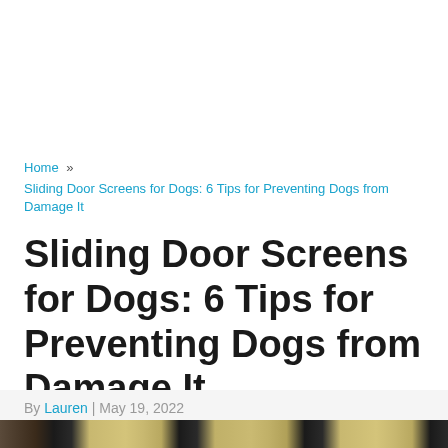Home » Sliding Door Screens for Dogs: 6 Tips for Preventing Dogs from Damage It
Sliding Door Screens for Dogs: 6 Tips for Preventing Dogs from Damage It
By Lauren | May 19, 2022
[Figure (photo): Bottom strip of a photo showing a sliding door screen, partially visible at bottom of page]